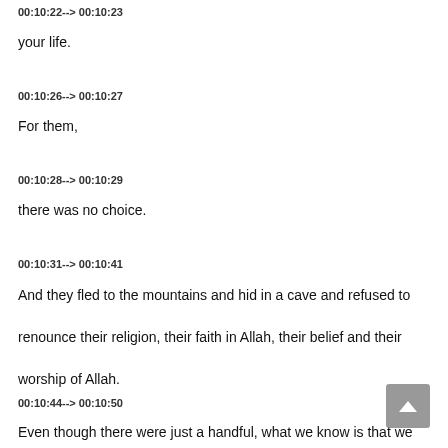00:10:22--> 00:10:23
your life.
00:10:26--> 00:10:27
For them,
00:10:28--> 00:10:29
there was no choice.
00:10:31--> 00:10:41
And they fled to the mountains and hid in a cave and refused to renounce their religion, their faith in Allah, their belief and their worship of Allah.
00:10:44--> 00:10:50
Even though there were just a handful, what we know is that we can